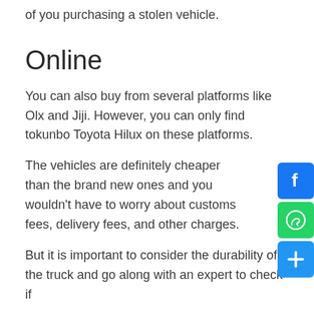of you purchasing a stolen vehicle.
Online
You can also buy from several platforms like Olx and Jiji. However, you can only find tokunbo Toyota Hilux on these platforms.
The vehicles are definitely cheaper than the brand new ones and you wouldn't have to worry about customs fees, delivery fees, and other charges.
But it is important to consider the durability of the truck and go along with an expert to check if